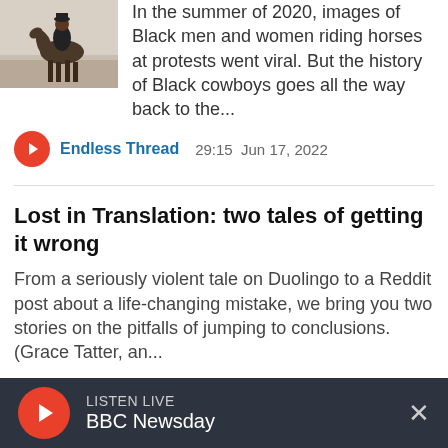[Figure (photo): Thumbnail photo of a person on a horse, partial view of legs and lower body]
In the summer of 2020, images of Black men and women riding horses at protests went viral. But the history of Black cowboys goes all the way back to the...
Endless Thread  29:15  Jun 17, 2022
Lost in Translation: two tales of getting it wrong
From a seriously violent tale on Duolingo to a Reddit post about a life-changing mistake, we bring you two stories on the pitfalls of jumping to conclusions. (Grace Tatter, an...
Endless Thread  19:36  Jun 10, 2022
LISTEN LIVE  BBC Newsday